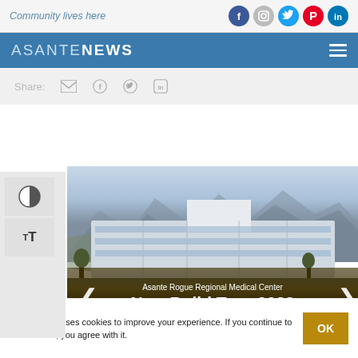Community lives here
ASANTE NEWS
Share:
[Figure (photo): Aerial photo of Asante Rogue Regional Medical Center building with mountains in background. Overlay text reads: Asante Rogue Regional Medical Center New Build Tour 2022]
This website uses cookies to improve your experience. If you continue to use this site, you agree with it.